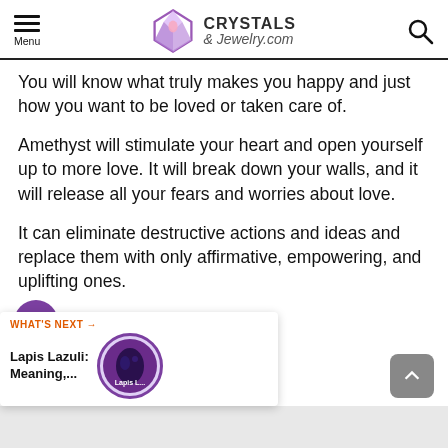Menu | Crystals & Jewelry.com
You will know what truly makes you happy and just how you want to be loved or taken care of.
Amethyst will stimulate your heart and open yourself up to more love. It will break down your walls, and it will release all your fears and worries about love.
It can eliminate destructive actions and ideas and replace them with only affirmative, empowering, and uplifting ones.
WHAT'S NEXT → Lapis Lazuli: Meaning,...